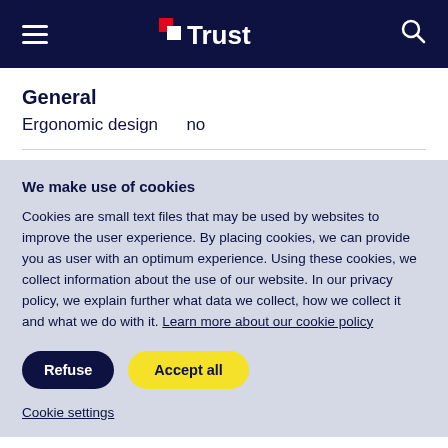Trust
General
Ergonomic design    no
We make use of cookies
Cookies are small text files that may be used by websites to improve the user experience. By placing cookies, we can provide you as user with an optimum experience. Using these cookies, we collect information about the use of our website. In our privacy policy, we explain further what data we collect, how we collect it and what we do with it. Learn more about our cookie policy
Refuse  Accept all
Cookie settings